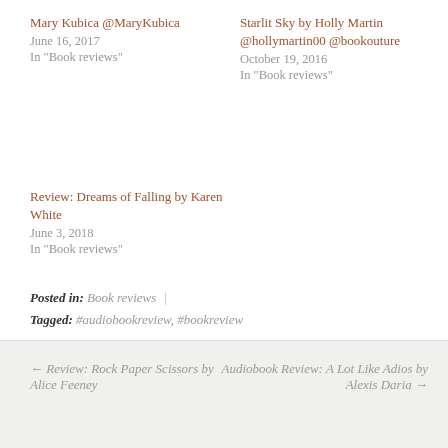Mary Kubica @MaryKubica
June 16, 2017
In "Book reviews"
Starlit Sky by Holly Martin @hollymartin00 @bookouture
October 19, 2016
In "Book reviews"
Review: Dreams of Falling by Karen White
June 3, 2018
In "Book reviews"
Posted in: Book reviews | Tagged: #audiobookreview, #bookreview
← Review: Rock Paper Scissors by Alice Feeney
Audiobook Review: A Lot Like Adios by Alexis Daria →